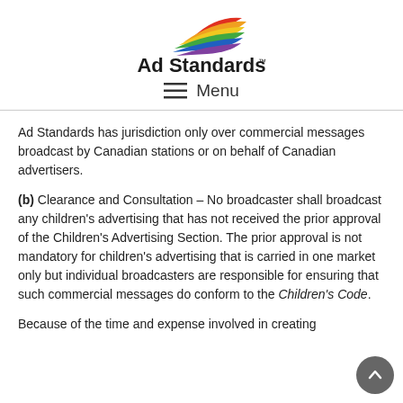[Figure (logo): Ad Standards logo with colorful swoosh design above the text 'Ad Standards™']
≡ Menu
Ad Standards has jurisdiction only over commercial messages broadcast by Canadian stations or on behalf of Canadian advertisers.
(b) Clearance and Consultation – No broadcaster shall broadcast any children's advertising that has not received the prior approval of the Children's Advertising Section. The prior approval is not mandatory for children's advertising that is carried in one market only but individual broadcasters are responsible for ensuring that such commercial messages do conform to the Children's Code.
Because of the time and expense involved in creating